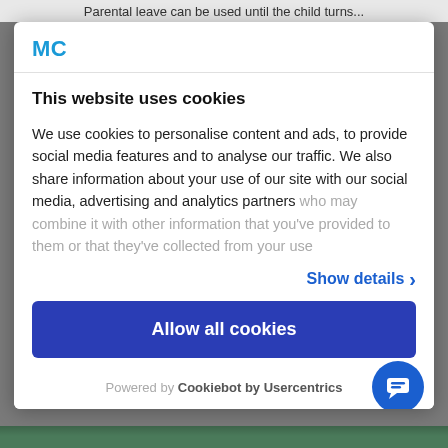Parental leave can be used until the child turns...
MC
This website uses cookies
We use cookies to personalise content and ads, to provide social media features and to analyse our traffic. We also share information about your use of our site with our social media, advertising and analytics partners who may combine it with other information that you've provided to them or that they've collected from your use
Show details ›
Allow all cookies
Powered by Cookiebot by Usercentrics